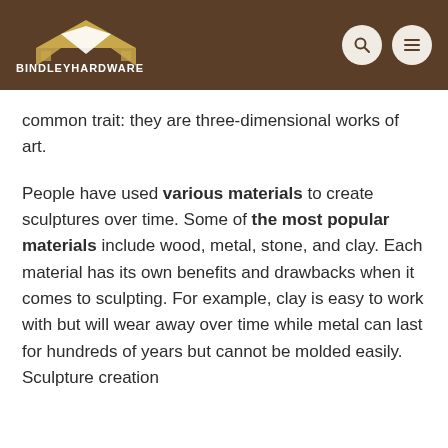[Figure (logo): Bindley Hardware logo: house/roof icon in gold/white on brown background with text BINDLEYHARDWARE below]
common trait: they are three-dimensional works of art.
People have used various materials to create sculptures over time. Some of the most popular materials include wood, metal, stone, and clay. Each material has its own benefits and drawbacks when it comes to sculpting. For example, clay is easy to work with but will wear away over time while metal can last for hundreds of years but cannot be molded easily. Sculpture creation